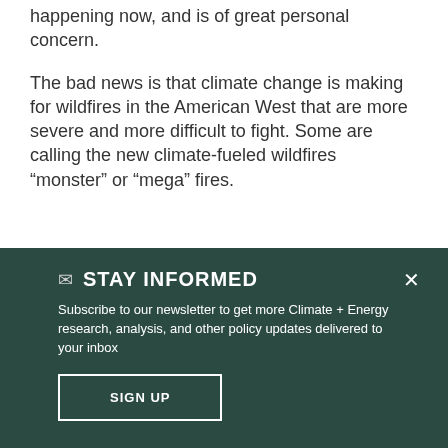happening now, and is of great personal concern.
The bad news is that climate change is making for wildfires in the American West that are more severe and more difficult to fight. Some are calling the new climate-fueled wildfires “monster” or “mega” fires.
STAY INFORMED
Subscribe to our newsletter to get more Climate + Energy research, analysis, and other policy updates delivered to your inbox
SIGN UP